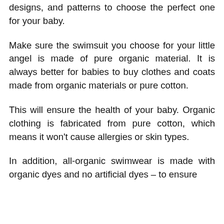designs, and patterns to choose the perfect one for your baby.
Make sure the swimsuit you choose for your little angel is made of pure organic material. It is always better for babies to buy clothes and coats made from organic materials or pure cotton.
This will ensure the health of your baby. Organic clothing is fabricated from pure cotton, which means it won't cause allergies or skin types.
In addition, all-organic swimwear is made with organic dyes and no artificial dyes – to ensure